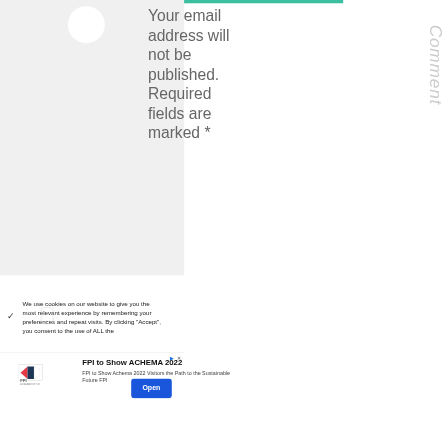Your email address will not be published. Required fields are marked *
Comment
We use cookies on our website to give you the most relevant experience by remembering your preferences and repeat visits. By clicking "Accept", you consent to the use of ALL the
[Figure (other): Advertisement banner for FPI to Show ACHEMA 2022 with FPI logo, headline text, subtext, and Open button]